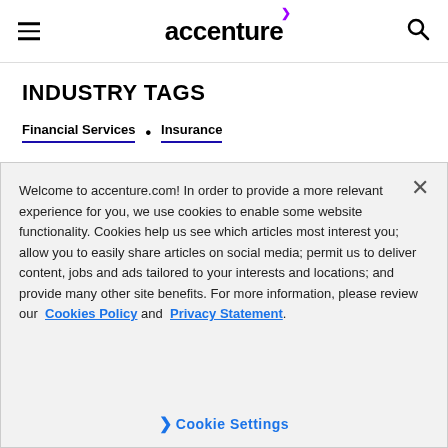accenture
INDUSTRY TAGS
Financial Services • Insurance
Welcome to accenture.com! In order to provide a more relevant experience for you, we use cookies to enable some website functionality. Cookies help us see which articles most interest you; allow you to easily share articles on social media; permit us to deliver content, jobs and ads tailored to your interests and locations; and provide many other site benefits. For more information, please review our Cookies Policy and Privacy Statement.
Cookie Settings